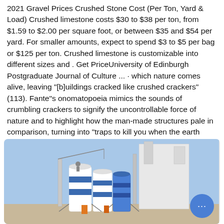2021 Gravel Prices Crushed Stone Cost (Per Ton, Yard & Load) Crushed limestone costs $30 to $38 per ton, from $1.59 to $2.00 per square foot, or between $35 and $54 per yard. For smaller amounts, expect to spend $3 to $5 per bag or $125 per ton. Crushed limestone is customizable into different sizes and . Get PriceUniversity of Edinburgh Postgraduate Journal of Culture ... · which nature comes alive, leaving "[b]uildings cracked like crushed crackers" (113). Fante"s onomatopoeia mimics the sounds of crumbling crackers to signify the uncontrollable force of nature and to highlight how the man-made structures pale in comparison, turning into "traps to kill you when the earth shook" (117). In Ask the Dust
[Figure (photo): Industrial cement or grain silos — large cylindrical white and blue silos against a blue sky, with metal structural supports and piping. A chat bubble button overlay appears in the bottom-right corner.]